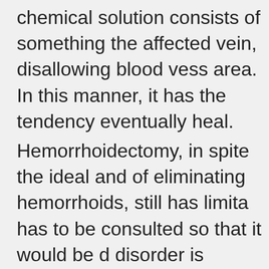chemical solution consists of something the affected vein, disallowing blood vess area. In this manner, it has the tendency eventually heal.
Hemorrhoidectomy, in spite the ideal and of eliminating hemorrhoids, still has limita has to be consulted so that it would be d disorder is already at a stage the place w procedure is already vital, or if it is some treated without the patient having to go u via medications and other simpler metho